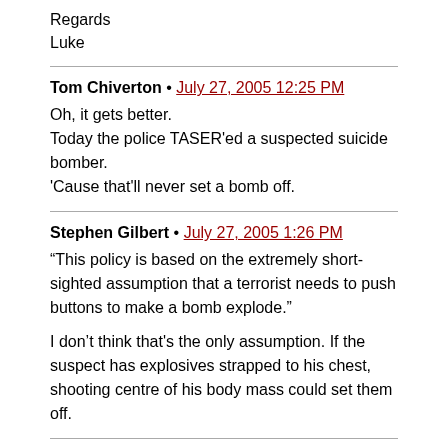Regards
Luke
Tom Chiverton • July 27, 2005 12:25 PM
Oh, it gets better.
Today the police TASER'ed a suspected suicide bomber.
'Cause that'll never set a bomb off.
Stephen Gilbert • July 27, 2005 1:26 PM
“This policy is based on the extremely short-sighted assumption that a terrorist needs to push buttons to make a bomb explode.”

I don’t think that's the only assumption. If the suspect has explosives strapped to his chest, shooting centre of his body mass could set them off.
Nick • July 27, 2005 2:13 PM
@Why: